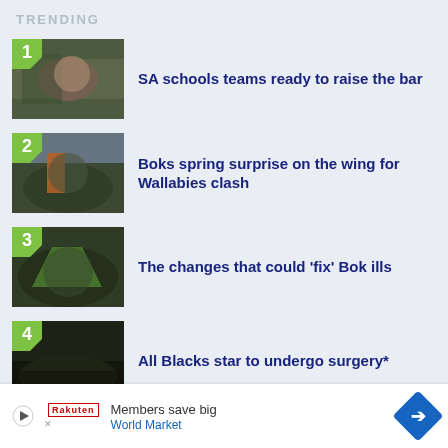TRENDING
SA schools teams ready to raise the bar
Boks spring surprise on the wing for Wallabies clash
The changes that could 'fix' Bok ills
All Blacks star to undergo surgery*
Members save big World Market